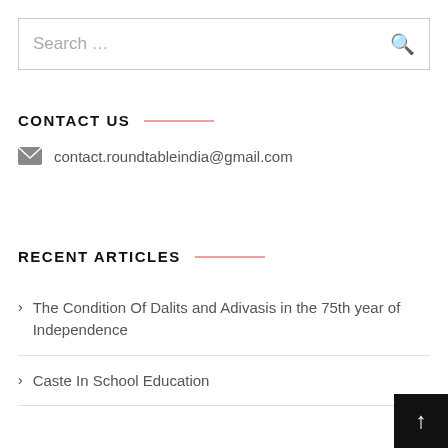Search …
CONTACT US
contact.roundtableindia@gmail.com
RECENT ARTICLES
The Condition Of Dalits and Adivasis in the 75th year of Independence
Caste In School Education